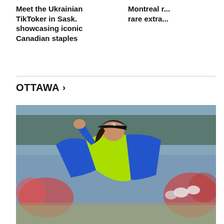Meet the Ukrainian TikToker in Sask. showcasing iconic Canadian staples
Montreal r... rare extra...
OTTAWA >
[Figure (photo): A female golfer in a blue and neon yellow outfit, wearing a black cap, celebrating with a fist pump on a golf course. Crowd visible in the background.]